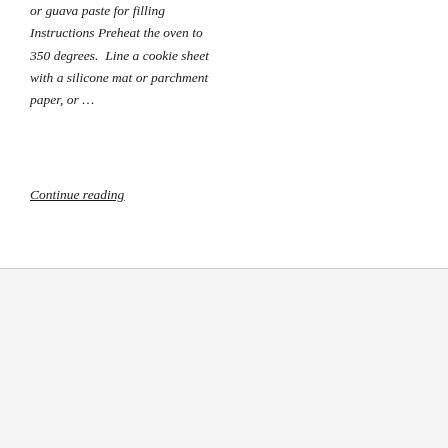or guava paste for filling Instructions Preheat the oven to 350 degrees. Line a cookie sheet with a silicone mat or parchment paper, or …
Continue reading
PAGES
Articles
Food & More